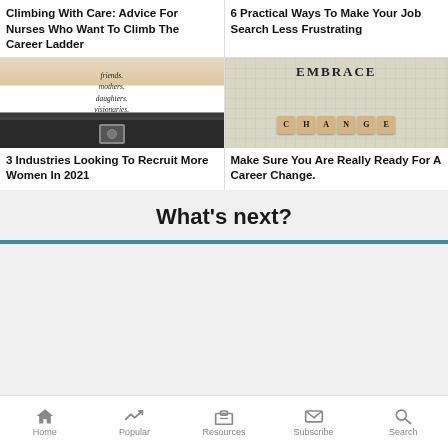Climbing With Care: Advice For Nurses Who Want To Climb The Career Ladder
6 Practical Ways To Make Your Job Search Less Frustrating
[Figure (photo): Woman wearing a white t-shirt with text listing words: friends, mothers, daughters, visionaries, queens, rulers, women. Wearing jeans with a belt.]
[Figure (photo): Scrabble-like tiles spelling 'EMBRACE' on top and 'CHANGE' on bottom on a grid background with glasses nearby.]
3 Industries Looking To Recruit More Women In 2021
Make Sure You Are Really Ready For A Career Change.
What's next?
Home  Popular  Resources  Subscribe  Search